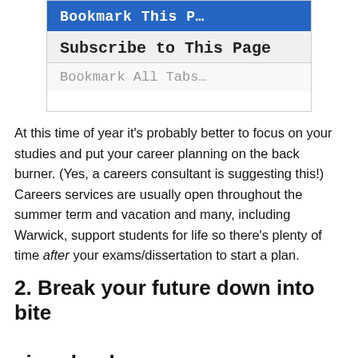[Figure (screenshot): Browser bookmark dropdown menu showing options: 'Bookmark This Page' (highlighted in blue), 'Subscribe to This Page', and 'Bookmark All Tabs...']
At this time of year it's probably better to focus on your studies and put your career planning on the back burner. (Yes, a careers consultant is suggesting this!) Careers services are usually open throughout the summer term and vacation and many, including Warwick, support students for life so there's plenty of time after your exams/dissertation to start a plan.
2. Break your future down into bite size chunks